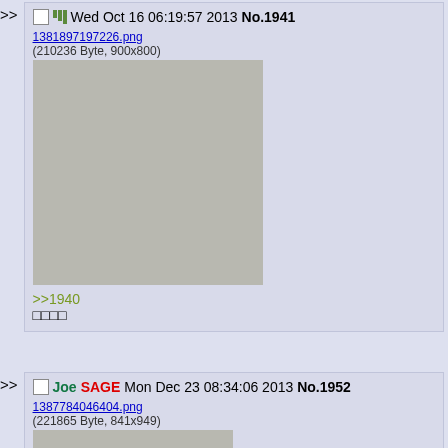>> [checkbox] [icon] Wed Oct 16 06:19:57 2013 No.1941
[Figure (screenshot): Image placeholder for 1381897197226.png (210236 Byte, 900x800)]
>>1940
□□□□
>> [checkbox] Joe SAGE Mon Dec 23 08:34:06 2013 No.1952
[Figure (screenshot): Image placeholder for 1387784046404.png (221865 Byte, 841x949)]